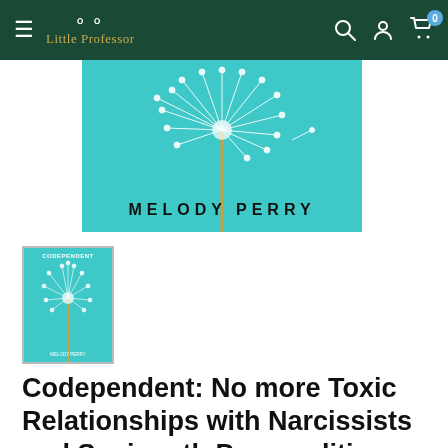Little Professor
[Figure (photo): Book cover for Codependent by Melody Perry showing a dandelion on a turquoise background with author name MELODY PERRY]
[Figure (photo): Small thumbnail of the Codependent book cover]
Codependent: No more Toxic Relationships with Narcissists and Sociopath Personalities. How to Stop